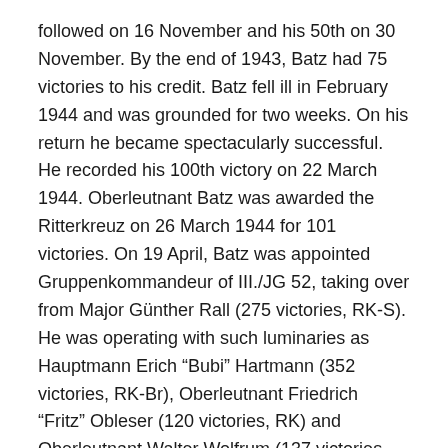followed on 16 November and his 50th on 30 November. By the end of 1943, Batz had 75 victories to his credit. Batz fell ill in February 1944 and was grounded for two weeks. On his return he became spectacularly successful. He recorded his 100th victory on 22 March 1944. Oberleutnant Batz was awarded the Ritterkreuz on 26 March 1944 for 101 victories. On 19 April, Batz was appointed Gruppenkommandeur of III./JG 52, taking over from Major Günther Rall (275 victories, RK-S). He was operating with such luminaries as Hauptmann Erich “Bubi” Hartmann (352 victories, RK-Br), Oberleutnant Friedrich “Fritz” Obleser (120 victories, RK) and Oberleutnant Walter Wolfrum (137 victories, RK) among the high-scoring pilots of III./JG 52 at that time.
Throughout the summer of 1944, he was downing three